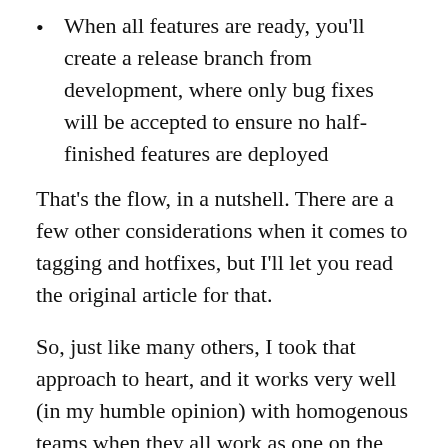When all features are ready, you'll create a release branch from development, where only bug fixes will be accepted to ensure no half-finished features are deployed
That's the flow, in a nutshell. There are a few other considerations when it comes to tagging and hotfixes, but I'll let you read the original article for that.
So, just like many others, I took that approach to heart, and it works very well (in my humble opinion) with homogenous teams when they all work as one on the same code.